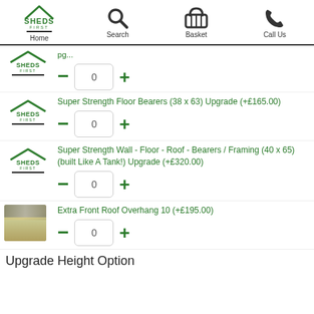Home | Search | Basket | Call Us
Super Strength Floor Bearers (38 x 63) Upgrade (+£165.00), quantity: 0
Super Strength Wall - Floor - Roof - Bearers / Framing (40 x 65) (built Like A Tank!) Upgrade (+£320.00), quantity: 0
Extra Front Roof Overhang 10 (+£195.00), quantity: 0
Upgrade Height Option